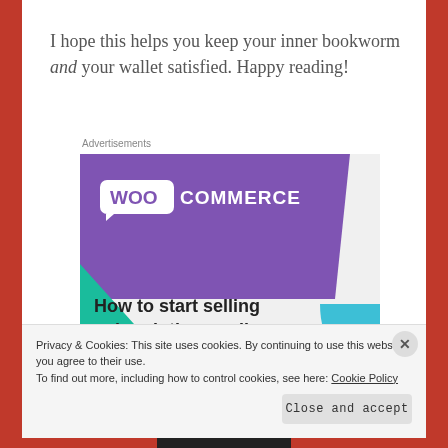I hope this helps you keep your inner bookworm and your wallet satisfied. Happy reading!
Advertisements
[Figure (logo): WooCommerce advertisement banner showing the WooCommerce logo on a purple background with teal and blue geometric shapes, and text 'How to start selling subscriptions online']
Privacy & Cookies: This site uses cookies. By continuing to use this website, you agree to their use.
To find out more, including how to control cookies, see here: Cookie Policy
Close and accept